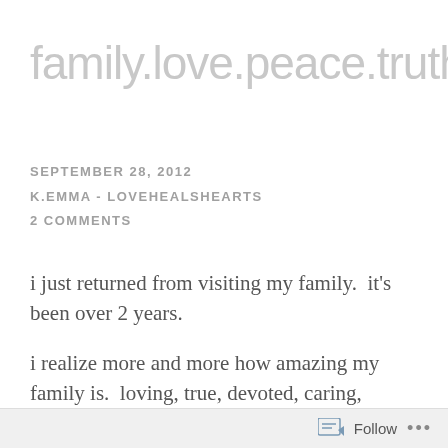family.love.peace.truth
SEPTEMBER 28, 2012
K.EMMA - LOVEHEALSHEARTS
2 COMMENTS
i just returned from visiting my family.  it's been over 2 years.
i realize more and more how amazing my family is.  loving, true, devoted, caring, giving.  i'm fortunate. i'm surrounded by
Follow ...